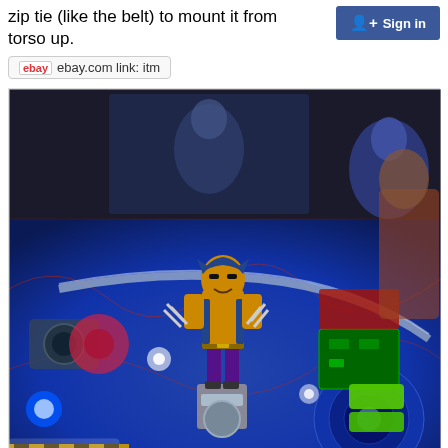zip tie (like the belt) to mount it from torso up.
ebay.com link: itm
[Figure (photo): Wolverine action figure toy mounted on an X-Men pinball machine playfield, showing the colorful lit-up playfield with various game elements, ramps, and targets.]
Sign in